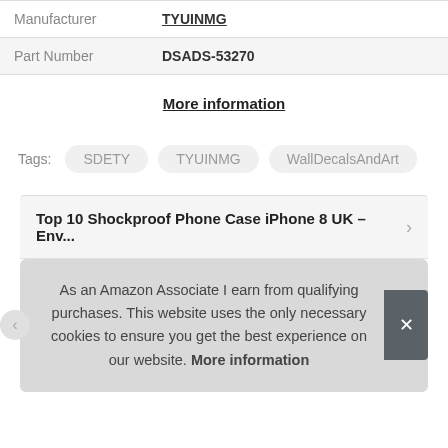| Manufacturer | TYUINMG |
| Part Number | DSADS-53270 |
More information
Tags:  SDETY  TYUINMG  WallDecalsAndArt
Top 10 Shockproof Phone Case iPhone 8 UK – Env...
As an Amazon Associate I earn from qualifying purchases. This website uses the only necessary cookies to ensure you get the best experience on our website. More information